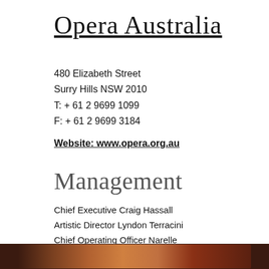Opera Australia
480 Elizabeth Street
Surry Hills NSW 2010
T: + 61 2 9699 1099
F: + 61 2 9699 3184
Website: www.opera.org.au
Management
Chief Executive Craig Hassall
Artistic Director Lyndon Terracini
Chief Operating Officer Narelle Beattie
Associate Music Director Tony Legge
[Figure (photo): A partial strip of a photo visible at the bottom of the page, showing what appears to be a performance or portrait scene with warm, dark tones.]